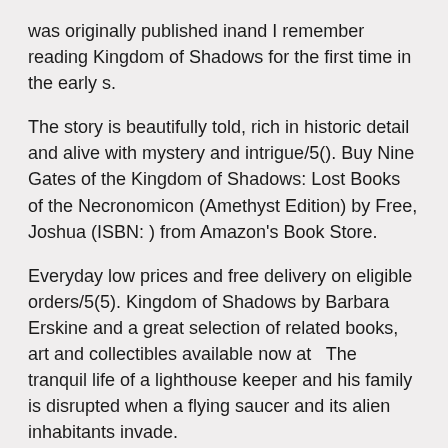was originally published inand I remember reading Kingdom of Shadows for the first time in the early s.
The story is beautifully told, rich in historic detail and alive with mystery and intrigue/5(). Buy Nine Gates of the Kingdom of Shadows: Lost Books of the Necronomicon (Amethyst Edition) by Free, Joshua (ISBN: ) from Amazon's Book Store.
Everyday low prices and free delivery on eligible orders/5(5). Kingdom of Shadows by Barbara Erskine and a great selection of related books, art and collectibles available now at   The tranquil life of a lighthouse keeper and his family is disrupted when a flying saucer and its alien inhabitants invade.
Black Friday, the day after Thanksgiving Novemberfour boys in a red SUV pull into a gas station after spending time /10(93). " Kingdom of Shadows must be called a spy novel, but it transcends genre, as did some Graham